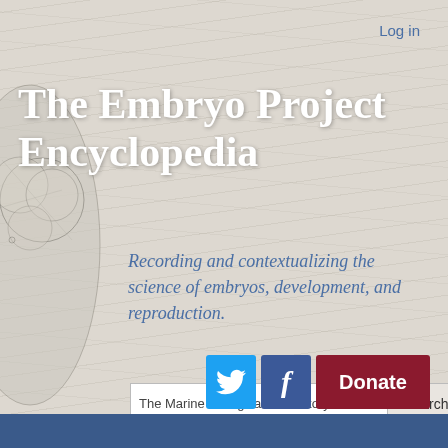Log in
The Embryo Project Encyclopedia
Recording and contextualizing the science of embryos, development, and reproduction.
The Marine Biological Laboratory-
search
[Figure (illustration): Embryo illustration in grayscale on left edge]
[Figure (logo): Twitter bird icon white on cyan button]
[Figure (logo): Facebook f icon white on dark blue button]
Donate